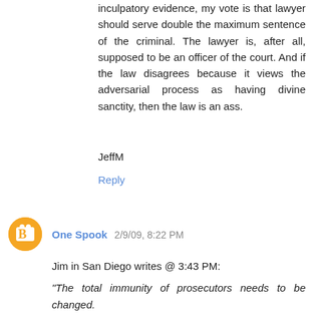inculpatory evidence, my vote is that lawyer should serve double the maximum sentence of the criminal. The lawyer is, after all, supposed to be an officer of the court. And if the law disagrees because it views the adversarial process as having divine sanctity, then the law is an ass.
JeffM
Reply
One Spook 2/9/09, 8:22 PM
Jim in San Diego writes @ 3:43 PM:
"The total immunity of prosecutors needs to be changed.

One possibility I suggest is to adopt the restrictive procedures used in some types of securities litigation.
[...]
This is a place to start. It is a way to bridge the gap between Mr. Anderson, and Mr. Spook, to get us where we all want to be."